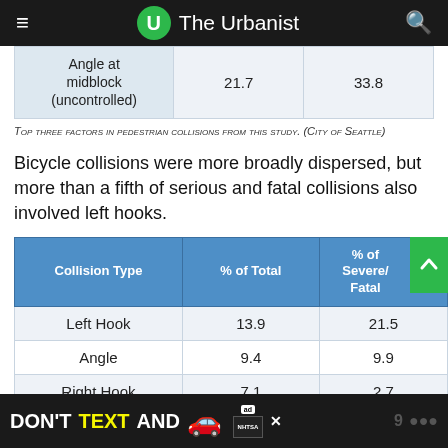The Urbanist
| Angle at midblock (uncontrolled) | 21.7 | 33.8 |
| --- | --- | --- |
Top three factors in pedestrian collisions from this study. (City of Seattle)
Bicycle collisions were more broadly dispersed, but more than a fifth of serious and fatal collisions also involved left hooks.
| Collision Type | % of Total | % of Severe/Fatal |
| --- | --- | --- |
| Left Hook | 13.9 | 21.5 |
| Angle | 9.4 | 9.9 |
| Right Hook | 7.1 | 2.7 |